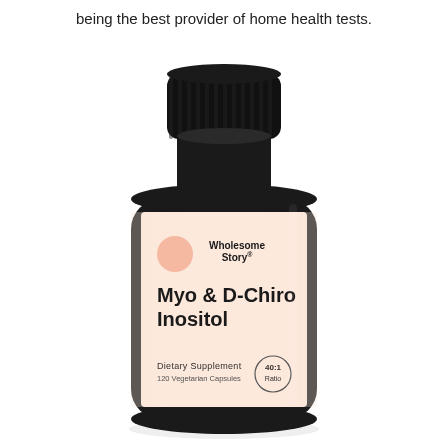being the best provider of home health tests.
[Figure (photo): A dark (black) plastic supplement bottle with a black cap and a light peach/salmon-colored label. The label shows a pink circle logo, the brand name 'Wholesome Story' in bold, the product name 'Myo & D-Chiro Inositol' in large bold text, and below that 'Dietary Supplement' and '120 Vegetarian Capsules' with a small circular badge reading '40:1 Ratio'.]